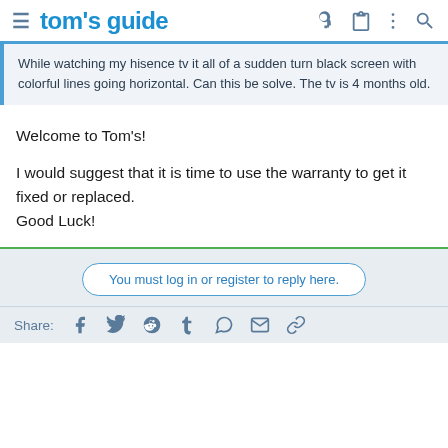tom's guide
While watching my hisence tv it all of a sudden turn black screen with colorful lines going horizontal. Can this be solve. The tv is 4 months old.
Welcome to Tom's!

I would suggest that it is time to use the warranty to get it fixed or replaced.
Good Luck!
You must log in or register to reply here.
Share: